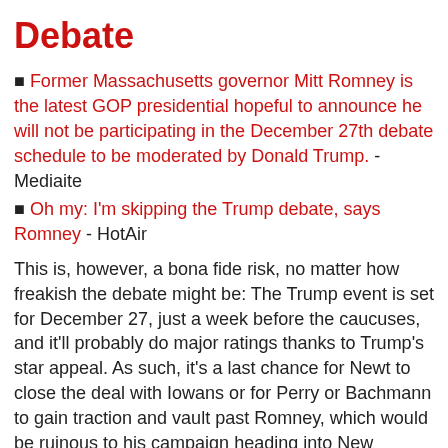Debate
Former Massachusetts governor Mitt Romney is the latest GOP presidential hopeful to announce he will not be participating in the December 27th debate schedule to be moderated by Donald Trump. - Mediaite
Oh my: I'm skipping the Trump debate, says Romney - HotAir
This is, however, a bona fide risk, no matter how freakish the debate might be: The Trump event is set for December 27, just a week before the caucuses, and it'll probably do major ratings thanks to Trump's star appeal. As such, it's a last chance for Newt to close the deal with Iowans or for Perry or Bachmann to gain traction and vault past Romney, which would be ruinous to his campaign heading into New Hampshire.
Rick Santorum on Moderators: Trump Wouldn't Be Any Worse 'Than What We Get from the Mainstream Media' - Noel Sheppard/Newsbusters